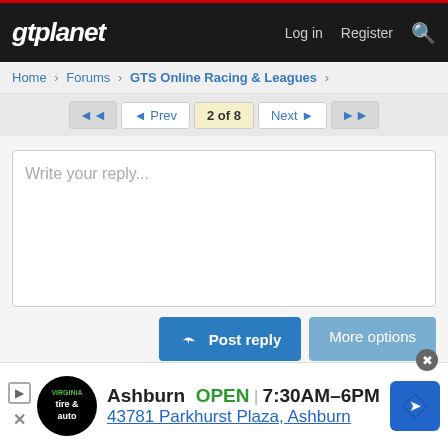gtplanet — Log in  Register  🔍
Home > Forums > GTS Online Racing & Leagues >
◄◄  ◄ Prev  2 of 8  Next ►  ►►
Write your reply...
Post reply  More options
Home > Forums > GTS Online Racing & Leagues >
Ashburn  OPEN  7:30AM–6PM  43781 Parkhurst Plaza, Ashburn